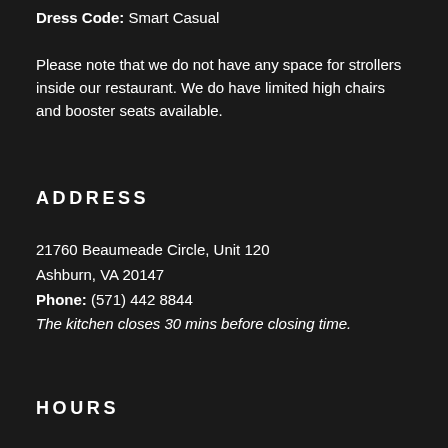Dress Code: Smart Casual
Please note that we do not have any space for strollers inside our restaurant. We do have limited high chairs and booster seats available.
ADDRESS
21760 Beaumeade Circle, Unit 120
Ashburn, VA 20147
Phone: (571) 442 8844
The kitchen closes 30 mins before closing time.
HOURS